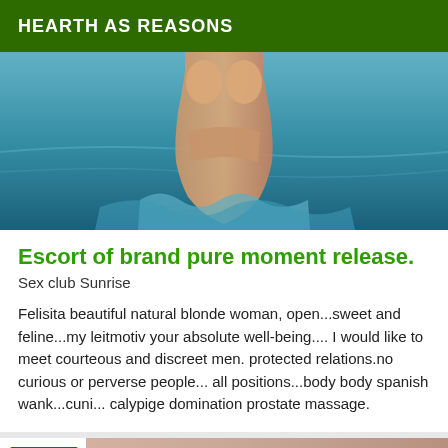HEARTH AS REASONS
[Figure (photo): Person emerging from water, partial torso visible above blue ocean water with splashing waves]
Escort of brand pure moment release.
Sex club Sunrise
Felisita beautiful natural blonde woman, open...sweet and feline...my leitmotiv your absolute well-being.... I would like to meet courteous and discreet men. protected relations.no curious or perverse people... all positions...body body spanish wank...cuni... calypige domination prostate massage.
[Figure (photo): Partial photo visible at bottom with Online badge label]